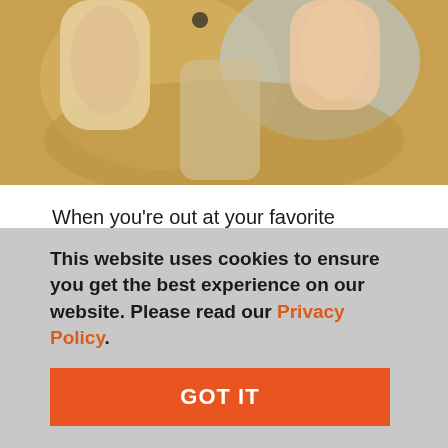[Figure (photo): Photo showing hands near fishing/outdoor gear with a yellowish-brown and blue background]
When you're out at your favorite fishing hole, the last thing you want to worry about is moisture seeping through your waders. Sometimes sharp rocks and gnarly sticks can rip or tear beloved outdoor gear. Or maybe you notice a leak in your wader seams after years of use. Whatever the cause, don't let dampness and tears weigh you down. Simply use our waterproof
This website uses cookies to ensure you get the best experience on our website. Please read our Privacy Policy.
GOT IT